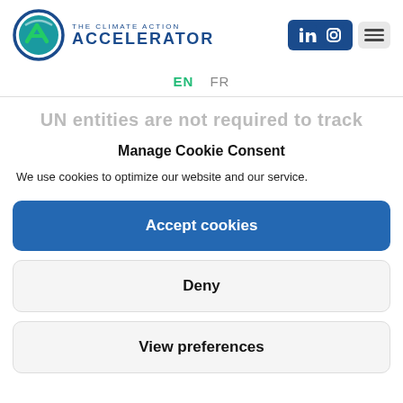[Figure (logo): The Climate Action Accelerator logo with circular emblem and text]
[Figure (logo): LinkedIn and Instagram social media icons in blue box, and hamburger menu icon in grey box]
EN   FR
UN entities are not required to track
Manage Cookie Consent
We use cookies to optimize our website and our service.
Accept cookies
Deny
View preferences